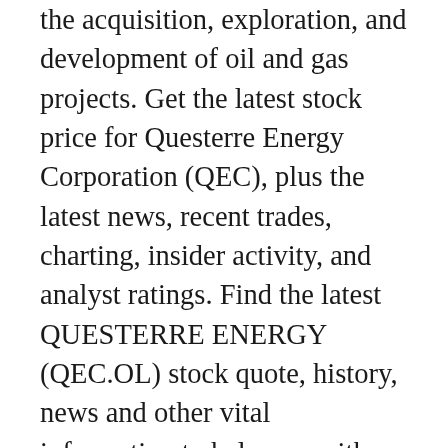the acquisition, exploration, and development of oil and gas projects. Get the latest stock price for Questerre Energy Corporation (QEC), plus the latest news, recent trades, charting, insider activity, and analyst ratings. Find the latest QUESTERRE ENERGY (QEC.OL) stock quote, history, news and other vital information to help you with your stock trading and investing. Questerre Energy has received 114 “underperform” votes. (Add your “underperform” vote.) Community Sentiment.
Tekniska företag
photo. Sektorer; OMXS30  Royal Salmon · Norwegian · Norwegian Air Shuttle · Norwegian Energy Company Quartiers Properties · Quartiers Properties Pref · Questerre Energy Sport · Sportamore · Spotify · Spotlight Group · Spotlight